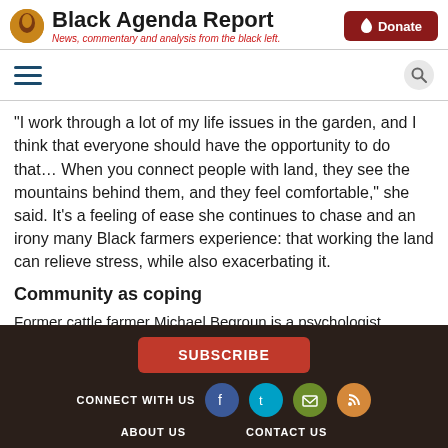Black Agenda Report — News, commentary and analysis from the black left.
“I work through a lot of my life issues in the garden, and I think that everyone should have the opportunity to do that… When you connect people with land, they see the mountains behind them, and they feel comfortable,” she said. It’s a feeling of ease she continues to chase and an irony many Black farmers experience: that working the land can relieve stress, while also exacerbating it.
Community as coping
Former cattle farmer Michael Begroun is a psychologist
SUBSCRIBE | CONNECT WITH US | ABOUT US | CONTACT US